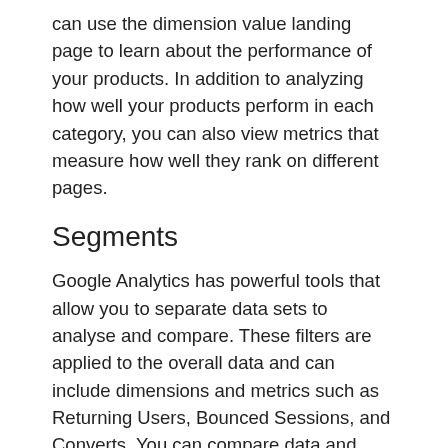can use the dimension value landing page to learn about the performance of your products. In addition to analyzing how well your products perform in each category, you can also view metrics that measure how well they rank on different pages.
Segments
Google Analytics has powerful tools that allow you to separate data sets to analyse and compare. These filters are applied to the overall data and can include dimensions and metrics such as Returning Users, Bounced Sessions, and Converts. You can compare data and analyse it in greater detail. In addition, segments stay active until you delete them, so you can use them for several years. Here are some of the benefits of